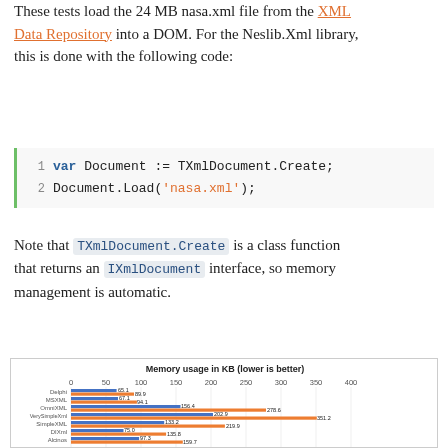These tests load the 24 MB nasa.xml file from the XML Data Repository into a DOM. For the Neslib.Xml library, this is done with the following code:
Note that TXmlDocument.Create is a class function that returns an IXmlDocument interface, so memory management is automatic.
[Figure (grouped-bar-chart): Memory usage in KB (lower is better)]